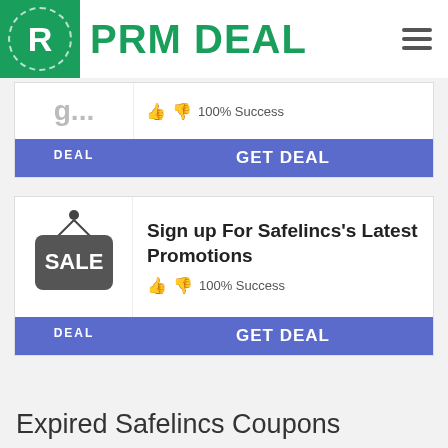PRM DEAL
[Figure (screenshot): Partial deal card at top, showing truncated text and 100% Success with thumbs up/down icons, GET DEAL button]
[Figure (screenshot): Deal card: Sign up For Safelincs's Latest Promotions, 100% Success, DEAL badge and GET DEAL button]
Expired Safelincs Coupons